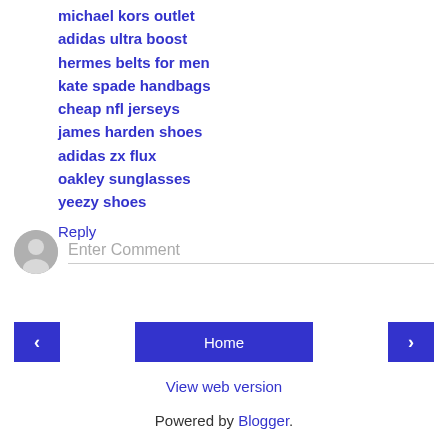michael kors outlet
adidas ultra boost
hermes belts for men
kate spade handbags
cheap nfl jerseys
james harden shoes
adidas zx flux
oakley sunglasses
yeezy shoes
Reply
Enter Comment
Home
View web version
Powered by Blogger.